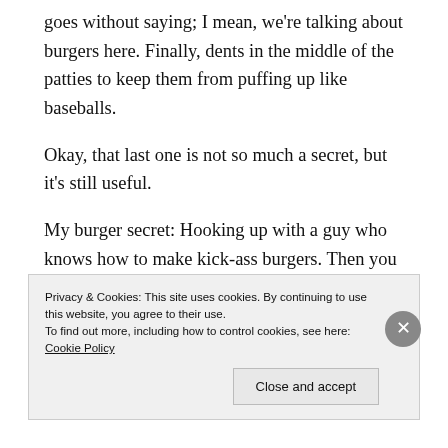goes without saying; I mean, we're talking about burgers here. Finally, dents in the middle of the patties to keep them from puffing up like baseballs.
Okay, that last one is not so much a secret, but it's still useful.
My burger secret: Hooking up with a guy who knows how to make kick-ass burgers. Then you can spend the afternoon reading a book while sipping sparkling water with St. Germain, and napping. And when you wake up, there are burgers! Best Saturday ever.
Privacy & Cookies: This site uses cookies. By continuing to use this website, you agree to their use. To find out more, including how to control cookies, see here: Cookie Policy
Close and accept